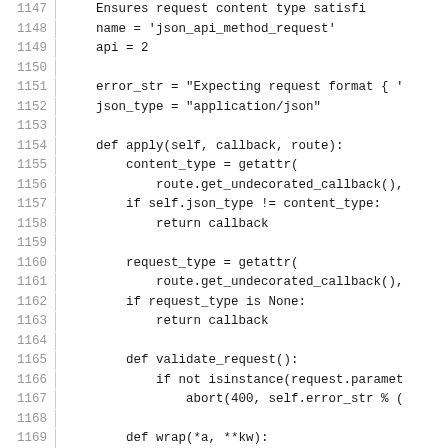Code listing lines 1147-1177, Python source code for JSON API plugin
1147: Ensures request content type satisfi...
1148:     name = 'json_api_method_request'
1149:     api = 2
1150: (blank)
1151:     error_str = "Expecting request format { '
1152:     json_type = "application/json"
1153: (blank)
1154:     def apply(self, callback, route):
1155:         content_type = getattr(
1156:             route.get_undecorated_callback(),
1157:         if self.json_type != content_type:
1158:             return callback
1159: (blank)
1160:         request_type = getattr(
1161:             route.get_undecorated_callback(),
1162:         if request_type is None:
1163:             return callback
1164: (blank)
1165:         def validate_request():
1166:             if not isinstance(request.paramet
1167:                 abort(400, self.error_str % (
1168: (blank)
1169:         def wrap(*a, **kw):
1170:             if JsonApiRequestPlugin.content_e
1171:                 validate_request()
1172:             return callback(*a, **kw)
1173: (blank)
1174:         return wrap
1175: (blank)
1176: (blank)
1177: class JsonErrorsPlugin(JSONPlugin):